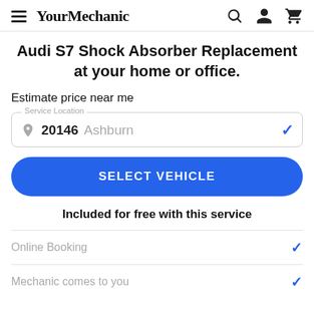YourMechanic
Audi S7 Shock Absorber Replacement at your home or office.
Estimate price near me
Service Location — 20146 Ashburn
SELECT VEHICLE
Included for free with this service
Online Booking
Mechanic comes to you